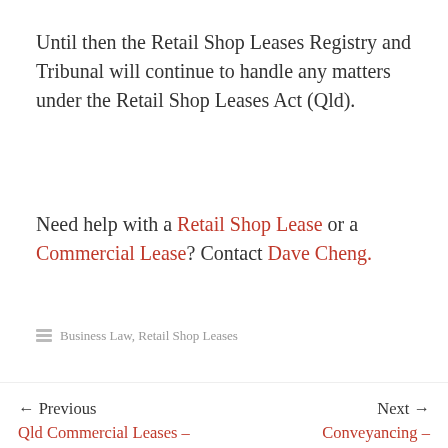Until then the Retail Shop Leases Registry and Tribunal will continue to handle any matters under the Retail Shop Leases Act (Qld).
Need help with a Retail Shop Lease or a Commercial Lease? Contact Dave Cheng.
Business Law, Retail Shop Leases
← Previous
Qld Commercial Leases – Landlords look likely to recover Land Tax from tenants
Next →
Conveyancing – Commmunity Title / Body Corporate / Strata title property comes with